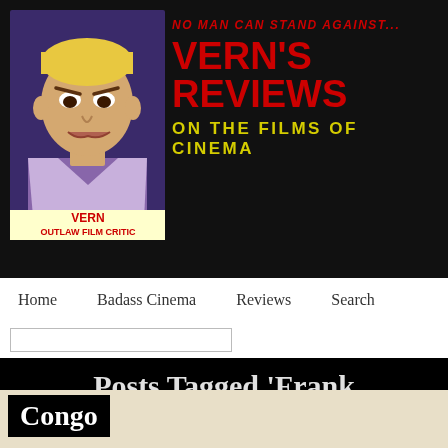NO MAN CAN STAND AGAINST... VERN'S REVIEWS ON THE FILMS OF CINEMA — VERN OUTLAW FILM CRITIC
Home | Badass Cinema | Reviews | Search
Posts Tagged 'Frank Marshall'
Congo
Tuesday, June 9th, 2015
Here's a